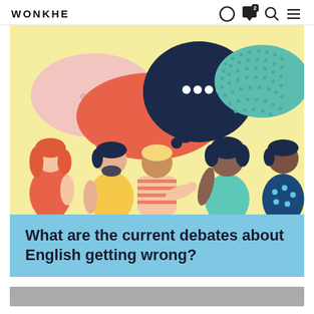WONKHE
[Figure (illustration): Colorful illustration of five diverse people in a group discussion, with speech bubbles above them on a light yellow background. Speech bubbles include pink, red/orange, dark navy with ellipsis dots, and teal/green dotted patterns.]
What are the current debates about English getting wrong?